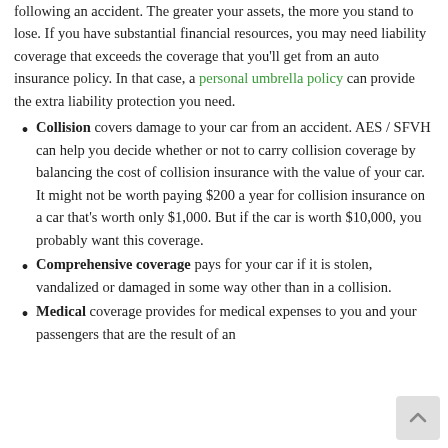following an accident. The greater your assets, the more you stand to lose. If you have substantial financial resources, you may need liability coverage that exceeds the coverage that you'll get from an auto insurance policy. In that case, a personal umbrella policy can provide the extra liability protection you need.
Collision covers damage to your car from an accident. AES / SFVH can help you decide whether or not to carry collision coverage by balancing the cost of collision insurance with the value of your car. It might not be worth paying $200 a year for collision insurance on a car that's worth only $1,000. But if the car is worth $10,000, you probably want this coverage.
Comprehensive coverage pays for your car if it is stolen, vandalized or damaged in some way other than in a collision.
Medical coverage provides for medical expenses to you and your passengers that are the result of an